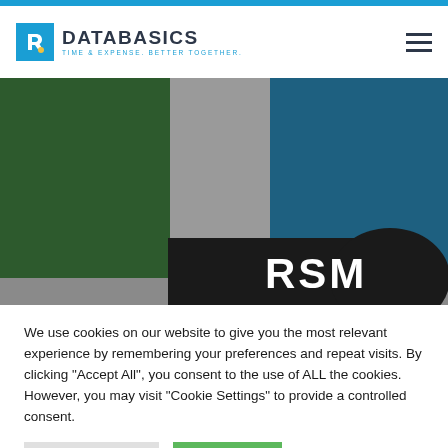[Figure (logo): DATABASICS logo with blue square icon containing a white D and yellow dot, company name in dark letters, tagline 'TIME & EXPENSE. BETTER TOGETHER.' in blue]
[Figure (screenshot): Hero image showing colored rectangles (dark green, gray, teal/dark blue) and a partial RSM logo text in white on dark background]
We use cookies on our website to give you the most relevant experience by remembering your preferences and repeat visits. By clicking "Accept All", you consent to the use of ALL the cookies. However, you may visit "Cookie Settings" to provide a controlled consent.
Cookie Settings
Accept All